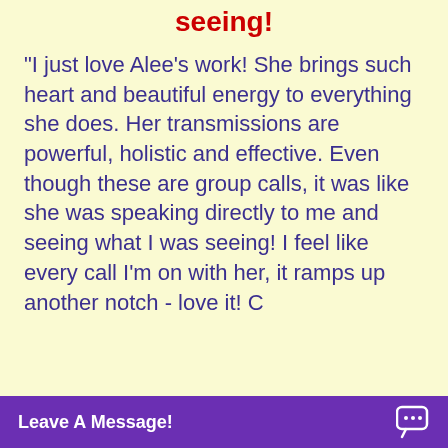seeing!
“I just love Alee's work! She brings such heart and beautiful energy to everything she does. Her transmissions are powerful, holistic and effective. Even though these are group calls, it was like she was speaking directly to me and seeing what I was seeing! I feel like every call I’m on with her, it ramps up another notch - love it! C
[Figure (screenshot): Purple chat bar at bottom with text 'Leave A Message!' and a chat bubble icon]